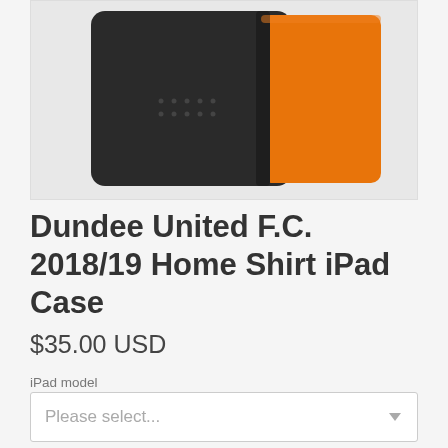[Figure (photo): Product photo of Dundee United F.C. iPad case showing black and orange case from the front, with dark charcoal left side and orange right panel.]
Dundee United F.C. 2018/19 Home Shirt iPad Case
$35.00 USD
iPad model
Please select...
Quantity